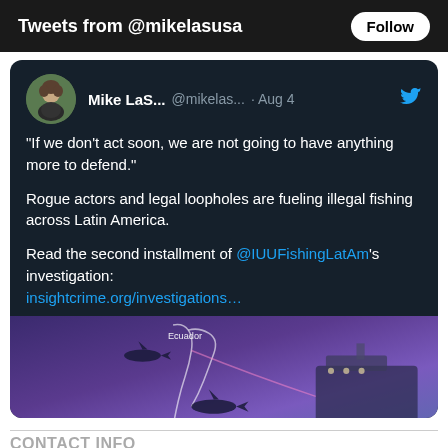Tweets from @mikelasusa
[Figure (screenshot): Twitter/X tweet card from Mike LaS... (@mikelas...) dated Aug 4, with profile photo. Tweet text: "If we don't act soon, we are not going to have anything more to defend." Rogue actors and legal loopholes are fueling illegal fishing across Latin America. Read the second installment of @IUUFishingLatAm's investigation: insightcrime.org/investigations... Includes an attached image showing a map with sharks and fishing vessels near Ecuador.]
CONTACT INFO